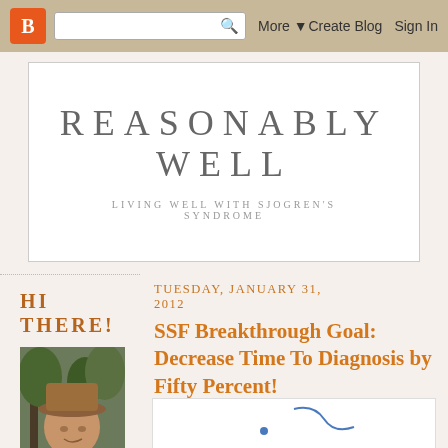Blogger navigation bar with logo, search, More, Create Blog, Sign In
REASONABLY WELL
LIVING WELL WITH SJOGREN'S SYNDROME
HI THERE!
[Figure (photo): Profile photo of a person wearing a brown hat, outdoors with trees in background]
TUESDAY, JANUARY 31, 2012
SSF Breakthrough Goal: Decrease Time To Diagnosis by Fifty Percent!
[Figure (screenshot): Partial embedded content/image at bottom of post]